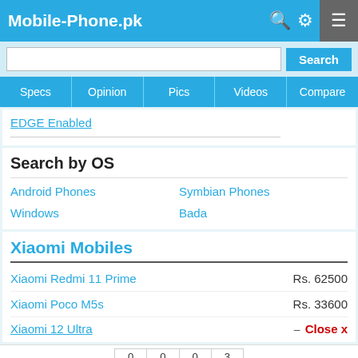Mobile-Phone.pk
EDGE Enabled
Search by OS
Android Phones
Symbian Phones
Windows
Bada
Xiaomi Mobiles
Xiaomi Redmi 11 Prime  Rs. 62500
Xiaomi Poco M5s  Rs. 33600
Xiaomi 12 Ultra  Close x
0 Share  0 WhatsApp  0 Tweet  3 Pin  | Latest Mobiles | Samsung | Huawei | Vivo | Infinix | Honor | Oppo | Realme | Tecno